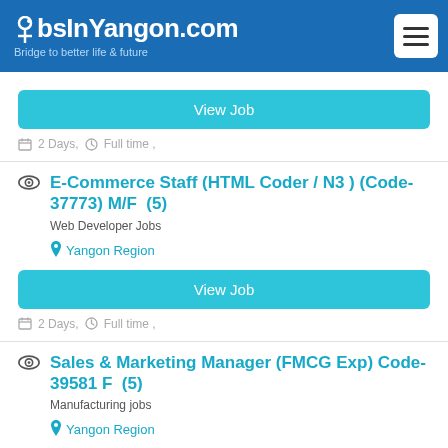JobsInYangon.com — Bridge to better life & future
View Job — 2 Days, Full time,
E-Commerce Staff (HTML Coder / N3 ) (Code-37773) M/F  (5)
Web Developer Jobs
Yangon Region
View Job
2 Days,  Full time ,
Sales & Marketing Manager (FMCG Exp) Code-39581 F  (5)
Manufacturing jobs
Yangon Region
View Job
2 Days,  Full time ,